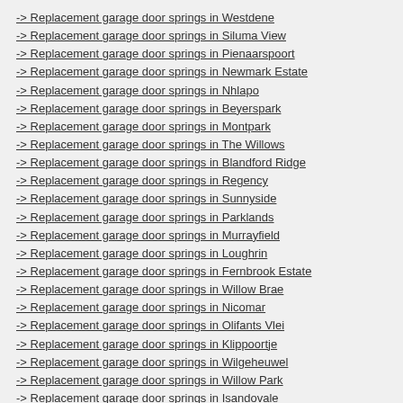-> Replacement garage door springs in Westdene
-> Replacement garage door springs in Siluma View
-> Replacement garage door springs in Pienaarspoort
-> Replacement garage door springs in Newmark Estate
-> Replacement garage door springs in Nhlapo
-> Replacement garage door springs in Beyerspark
-> Replacement garage door springs in Montpark
-> Replacement garage door springs in The Willows
-> Replacement garage door springs in Blandford Ridge
-> Replacement garage door springs in Regency
-> Replacement garage door springs in Sunnyside
-> Replacement garage door springs in Parklands
-> Replacement garage door springs in Murrayfield
-> Replacement garage door springs in Loughrin
-> Replacement garage door springs in Fernbrook Estate
-> Replacement garage door springs in Willow Brae
-> Replacement garage door springs in Nicomar
-> Replacement garage door springs in Olifants Vlei
-> Replacement garage door springs in Klippoortje
-> Replacement garage door springs in Wilgeheuwel
-> Replacement garage door springs in Willow Park
-> Replacement garage door springs in Isandovale
-> Replacement garage door springs in Arcadia
-> Replacement garage door springs in Akkerhof